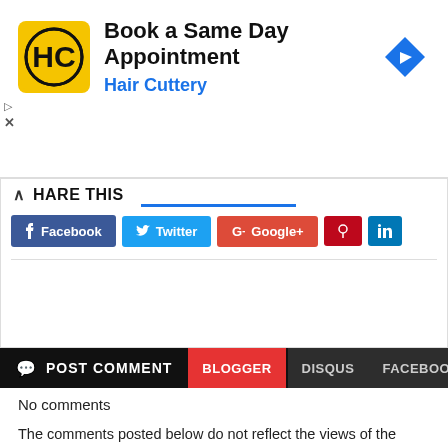[Figure (screenshot): Advertisement banner for Hair Cuttery: 'Book a Same Day Appointment' with HC logo and navigation arrow icon]
SHARE THIS
[Figure (screenshot): Social share buttons: Facebook, Twitter, Google+, Pinterest, LinkedIn]
POST COMMENT   BLOGGER   DISQUS   FACEBOOK
No comments
The comments posted below do not reflect the views of the blog, Aviation Updates Philippines, its authors, contributors, and the AUP community. Although we have the right to fully exercise the freedom of expression, we have to use it wisely